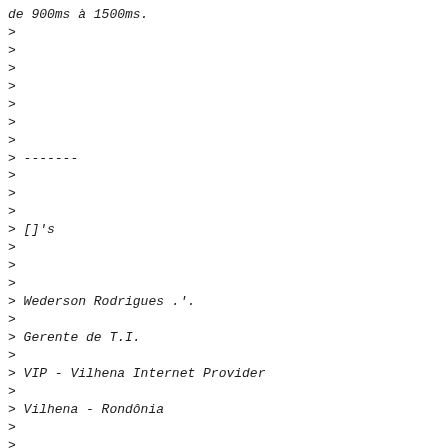de 900ms à 1500ms.
>
>
>
>
>
>
>
> -------
>
>
>
> []'s
>
>
>
> Wederson Rodrigues .'.
>
> Gerente de T.I.
>
> VIP - Vilhena Internet Provider
>
> Vilhena - Rondônia
>
>
>
> e-mail: wederson at vipvilhena.com.br
>
> MSN: cebolark at hotmail.com
>